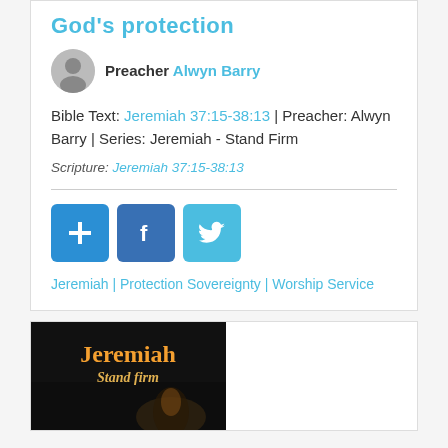God's protection
Preacher Alwyn Barry
Bible Text: Jeremiah 37:15-38:13 | Preacher: Alwyn Barry | Series: Jeremiah - Stand Firm
Scripture: Jeremiah 37:15-38:13
[Figure (infographic): Three social sharing buttons: a blue plus/share button, a Facebook button, and a Twitter button]
Jeremiah | Protection Sovereignty | Worship Service
[Figure (photo): Dark background image with orange text reading 'Jeremiah Stand firm' with a glowing figure below]